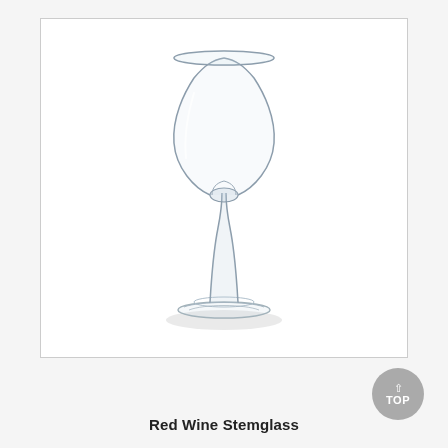[Figure (photo): A clear glass red wine stemglass on a white background, with a wide bowl, narrow stem, and circular base. A shadow is visible beneath the base.]
Red Wine Stemglass